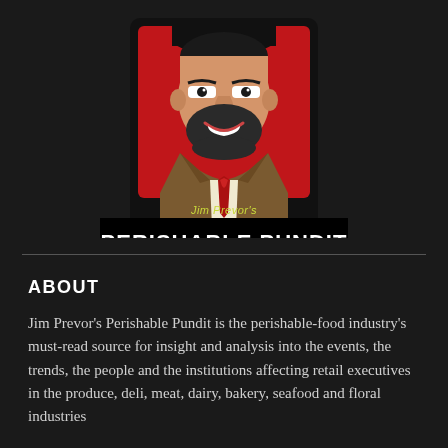[Figure (logo): Jim Prevor's Perishable Pundit logo: stylized comic-art illustration of a man in a suit with red background, with 'Jim Prevor's' in yellow-green italic and 'PERISHABLE PUNDIT' in bold white on black banner]
ABOUT
Jim Prevor's Perishable Pundit is the perishable-food industry's must-read source for insight and analysis into the events, the trends, the people and the institutions affecting retail executives in the produce, deli, meat, dairy, bakery, seafood and floral industries